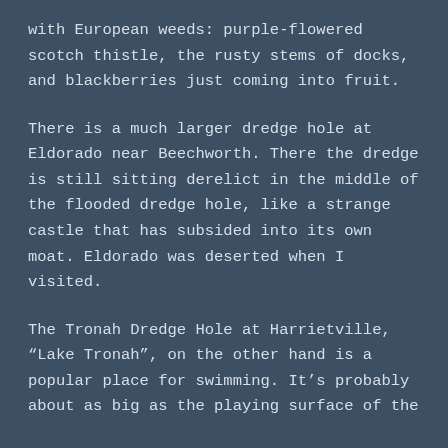with European weeds: purple-flowered scotch thistle, the rusty stems of docks, and blackberries just coming into fruit.
There is a much larger dredge hole at Eldorado near Beechworth. There the dredge is still sitting derelict in the middle of the flooded dredge hole, like a strange castle that has subsided into its own moat. Eldorado was deserted when I visited.
The Tronah Dredge Hole at Harrietville, “Lake Tronah”, on the other hand is a popular place for swimming. It’s probably about as big as the playing surface of the